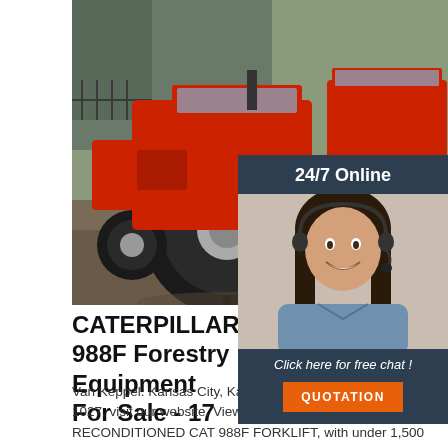[Figure (photo): Photo of red agricultural tractors parked outdoors on a paved surface, with a building and fence visible in the background.]
[Figure (photo): Customer service agent — woman with headset smiling, with '24/7 Online' text above and 'Click here for free chat!' and 'QUOTATION' button below.]
CATERPILLAR 988F Forestry Equipment For Sale - 17
Van Keppel. Kansas City, Kansas 66110. Phone: (913) 774-1027. visit our website. View Details. Contact Us. RECONDITIONED CAT 988F FORKLIFT, with under 1,500 factory frame hours. 2 stg 157 mast, with side shifting fork positioner 96 forks. Enclosed cab. Unit was brought into the shop, serviced and all co